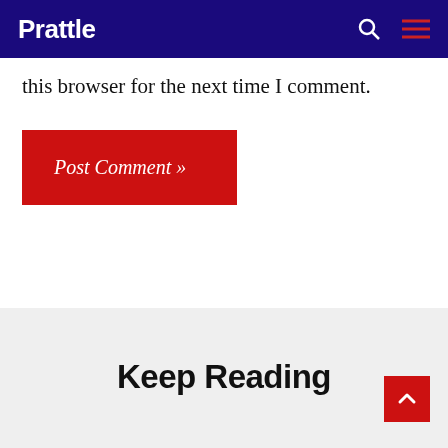Prattle
this browser for the next time I comment.
Post Comment »
Keep Reading